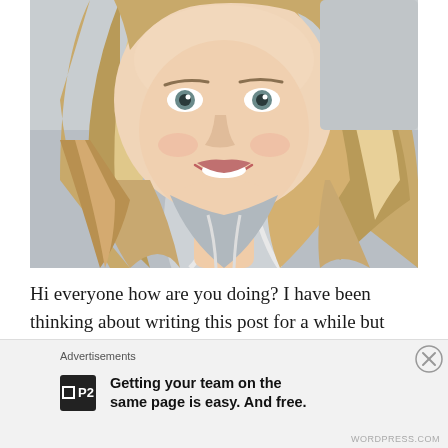[Figure (photo): A selfie photo of a young woman with long blonde wavy hair wearing a light grey zip-up hoodie, smiling at the camera]
Hi everyone how are you doing? I have been thinking about writing this post for a while but wanted to make
Advertisements
Getting your team on the same page is easy. And free.